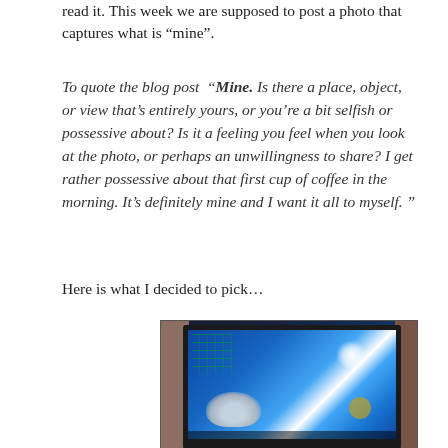read it. This week we are supposed to post a photo that captures what is “mine”.
To quote the blog post “Mine. Is there a place, object, or view that’s entirely yours, or you’re a bit selfish or possessive about? Is it a feeling you feel when you look at the photo, or perhaps an unwillingness to share? I get rather possessive about that first cup of coffee in the morning. It’s definitely mine and I want it all to myself. ”
Here is what I decided to pick…
[Figure (photo): A computer monitor displaying a Windows desktop with a wolf and moon wallpaper, surrounded by bookshelves on either side.]